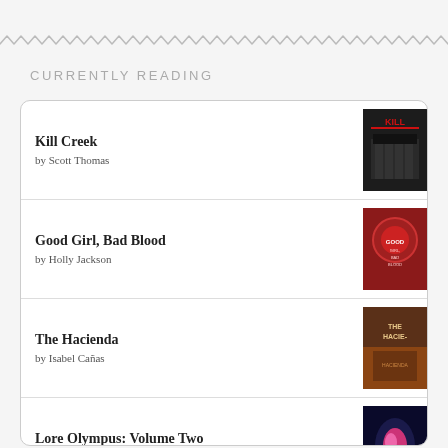[Figure (illustration): Decorative zigzag/wavy line border across the top of the page]
CURRENTLY READING
Kill Creek by Scott Thomas
Good Girl, Bad Blood by Holly Jackson
The Hacienda by Isabel Cañas
Lore Olympus: Volume Two by Rachel Smythe
Lore Olympus, Season 1